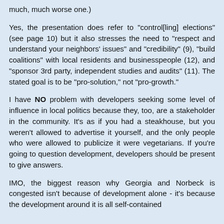much, much worse one.)
Yes, the presentation does refer to "control[ling] elections" (see page 10) but it also stresses the need to "respect and understand your neighbors' issues" and "credibility" (9), "build coalitions" with local residents and businesspeople (12), and "sponsor 3rd party, independent studies and audits" (11). The stated goal is to be "pro-solution," not "pro-growth."
I have NO problem with developers seeking some level of influence in local politics because they, too, are a stakeholder in the community. It's as if you had a steakhouse, but you weren't allowed to advertise it yourself, and the only people who were allowed to publicize it were vegetarians. If you're going to question development, developers should be present to give answers.
IMO, the biggest reason why Georgia and Norbeck is congested isn't because of development alone - it's because the development around it is all self-contained little pods that force everyone into its own through the...